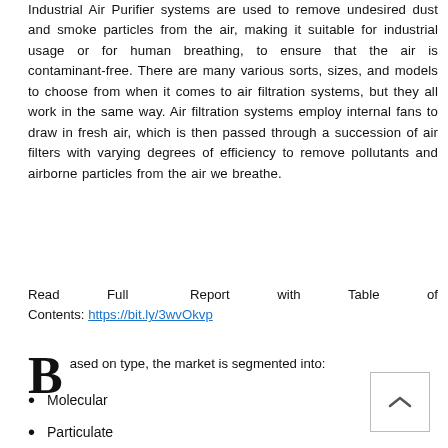Industrial Air Purifier systems are used to remove undesired dust and smoke particles from the air, making it suitable for industrial usage or for human breathing, to ensure that the air is contaminant-free. There are many various sorts, sizes, and models to choose from when it comes to air filtration systems, but they all work in the same way. Air filtration systems employ internal fans to draw in fresh air, which is then passed through a succession of air filters with varying degrees of efficiency to remove pollutants and airborne particles from the air we breathe.
Read Full Report with Table of Contents: https://bit.ly/3wvOkvp
Based on type, the market is segmented into:
Molecular
Particulate